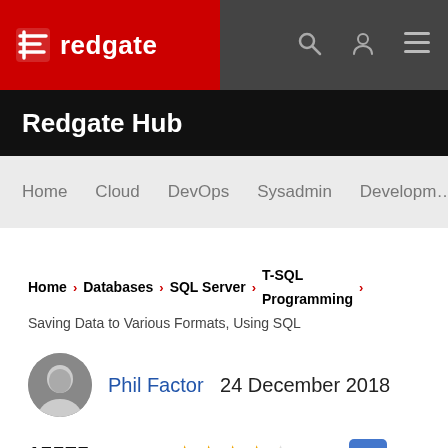[Figure (logo): Redgate logo with icon on red/dark navigation bar with search, user, and menu icons]
Redgate Hub
Home   Cloud   DevOps   Sysadmin   Developm…
Home > Databases > SQL Server > T-SQL Programming > Saving Data to Various Formats, Using SQL
Phil Factor   24 December 2018
15575 views  ★★★★½ 10  💬 3